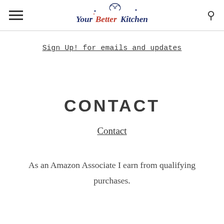Your Better Kitchen
Sign Up! for emails and updates
CONTACT
Contact
As an Amazon Associate I earn from qualifying purchases.